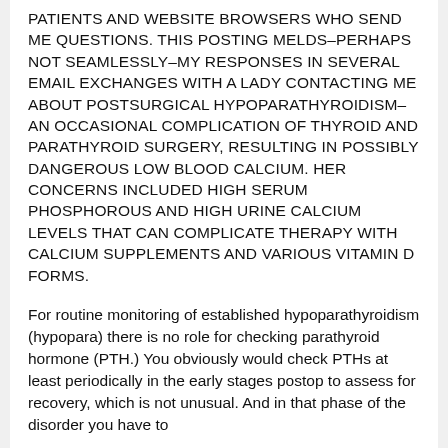PATIENTS AND WEBSITE BROWSERS WHO SEND ME QUESTIONS. THIS POSTING MELDS–PERHAPS NOT SEAMLESSLY–MY RESPONSES IN SEVERAL EMAIL EXCHANGES WITH A LADY CONTACTING ME ABOUT POSTSURGICAL HYPOPARATHYROIDISM–AN OCCASIONAL COMPLICATION OF THYROID AND PARATHYROID SURGERY, RESULTING IN POSSIBLY DANGEROUS LOW BLOOD CALCIUM. HER CONCERNS INCLUDED HIGH SERUM PHOSPHOROUS AND HIGH URINE CALCIUM LEVELS THAT CAN COMPLICATE THERAPY WITH CALCIUM SUPPLEMENTS AND VARIOUS VITAMIN D FORMS.
For routine monitoring of established hypoparathyroidism (hypopara) there is no role for checking parathyroid hormone (PTH.) You obviously would check PTHs at least periodically in the early stages postop to assess for recovery, which is not unusual. And in that phase of the disorder you have to